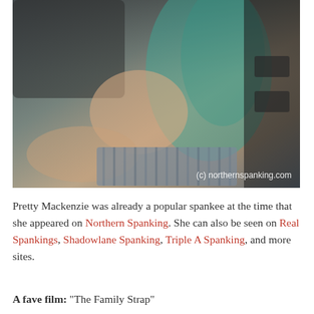[Figure (photo): Photograph of two people in a room, with a watermark '(c) northernspanking.com' in the lower right corner.]
Pretty Mackenzie was already a popular spankee at the time that she appeared on Northern Spanking. She can also be seen on Real Spankings, Shadowlane Spanking, Triple A Spanking, and more sites.
A fave film: "The Family Strap"